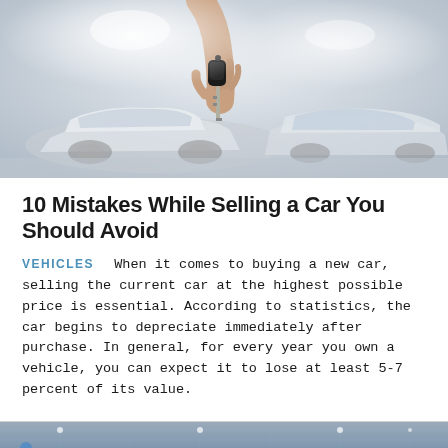[Figure (photo): A hand holding car keys up, with blurred white cars in a dealership showroom in the background.]
10 Mistakes While Selling a Car You Should Avoid
VEHICLES  When it comes to buying a new car, selling the current car at the highest possible price is essential. According to statistics, the car begins to depreciate immediately after purchase. In general, for every year you own a vehicle, you can expect it to lose at least 5-7 percent of its value.
[Figure (photo): Partial view of another article image below, showing what appears to be a room or indoor space with a blue-toned atmosphere.]